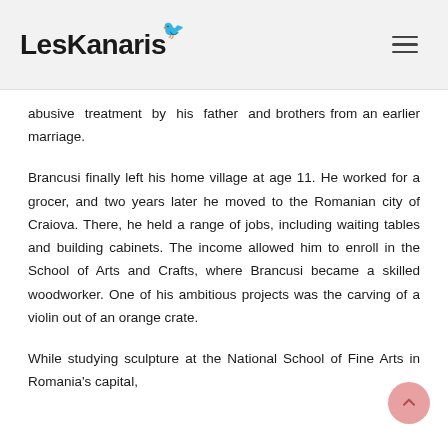LesKanaris
abusive treatment by his father and brothers from an earlier marriage.
Brancusi finally left his home village at age 11. He worked for a grocer, and two years later he moved to the Romanian city of Craiova. There, he held a range of jobs, including waiting tables and building cabinets. The income allowed him to enroll in the School of Arts and Crafts, where Brancusi became a skilled woodworker. One of his ambitious projects was the carving of a violin out of an orange crate.
While studying sculpture at the National School of Fine Arts in Romania's capital,